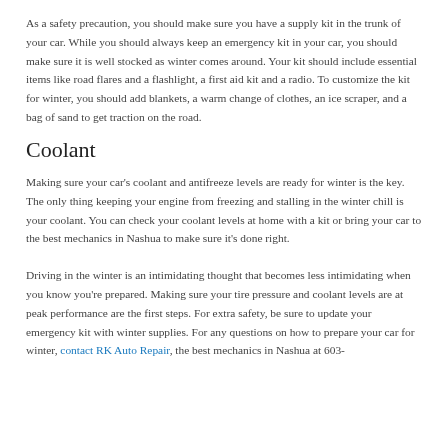As a safety precaution, you should make sure you have a supply kit in the trunk of your car. While you should always keep an emergency kit in your car, you should make sure it is well stocked as winter comes around. Your kit should include essential items like road flares and a flashlight, a first aid kit and a radio. To customize the kit for winter, you should add blankets, a warm change of clothes, an ice scraper, and a bag of sand to get traction on the road.
Coolant
Making sure your car's coolant and antifreeze levels are ready for winter is the key. The only thing keeping your engine from freezing and stalling in the winter chill is your coolant. You can check your coolant levels at home with a kit or bring your car to the best mechanics in Nashua to make sure it's done right.
Driving in the winter is an intimidating thought that becomes less intimidating when you know you're prepared. Making sure your tire pressure and coolant levels are at peak performance are the first steps. For extra safety, be sure to update your emergency kit with winter supplies. For any questions on how to prepare your car for winter, contact RK Auto Repair, the best mechanics in Nashua at 603-